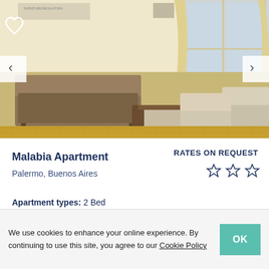[Figure (photo): Interior photo of a furnished apartment living room with tan sofa, armchairs, wooden coffee table, parquet flooring, and large windows with curtains]
Malabia Apartment
Palermo, Buenos Aires
RATES ON REQUEST
☆ ☆ ☆
Apartment types: 2 Bed
We use cookies to enhance your online experience. By continuing to use this site, you agree to our Cookie Policy